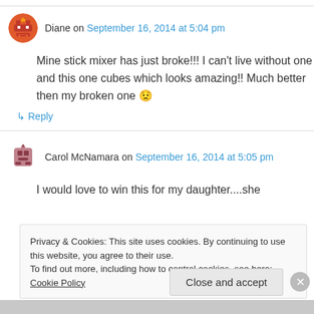Diane on September 16, 2014 at 5:04 pm
Mine stick mixer has just broke!!! I can't live without one and this one cubes which looks amazing!! Much better then my broken one 😟
↳ Reply
Carol McNamara on September 16, 2014 at 5:05 pm
I would love to win this for my daughter....she
Privacy & Cookies: This site uses cookies. By continuing to use this website, you agree to their use.
To find out more, including how to control cookies, see here: Cookie Policy
Close and accept